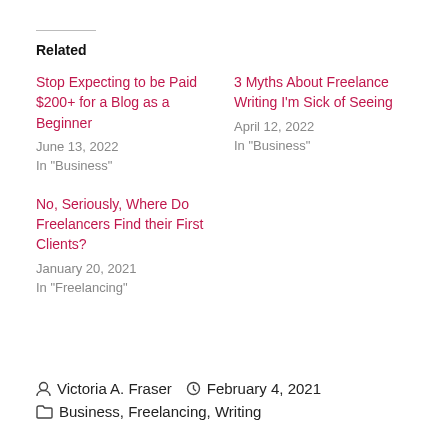Related
Stop Expecting to be Paid $200+ for a Blog as a Beginner
June 13, 2022
In "Business"
3 Myths About Freelance Writing I'm Sick of Seeing
April 12, 2022
In "Business"
No, Seriously, Where Do Freelancers Find their First Clients?
January 20, 2021
In "Freelancing"
Victoria A. Fraser  February 4, 2021  Business, Freelancing, Writing